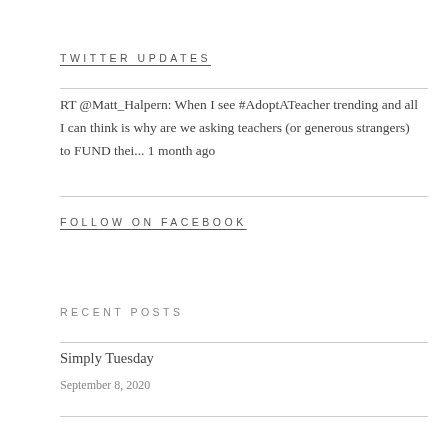TWITTER UPDATES
RT @Matt_Halpern: When I see #AdoptATeacher trending and all I can think is why are we asking teachers (or generous strangers) to FUND thei... 1 month ago
FOLLOW ON FACEBOOK
RECENT POSTS
Simply Tuesday
September 8, 2020